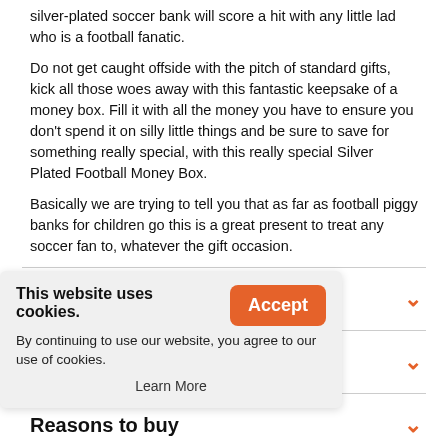silver-plated soccer bank will score a hit with any little lad who is a football fanatic.
Do not get caught offside with the pitch of standard gifts, kick all those woes away with this fantastic keepsake of a money box. Fill it with all the money you have to ensure you don't spend it on silly little things and be sure to save for something really special, with this really special Silver Plated Football Money Box.
Basically we are trying to tell you that as far as football piggy banks for children go this is a great present to treat any soccer fan to, whatever the gift occasion.
About this product
What do you get
Reasons to buy
Product reviews
This website uses cookies. By continuing to use our website, you agree to our use of cookies.